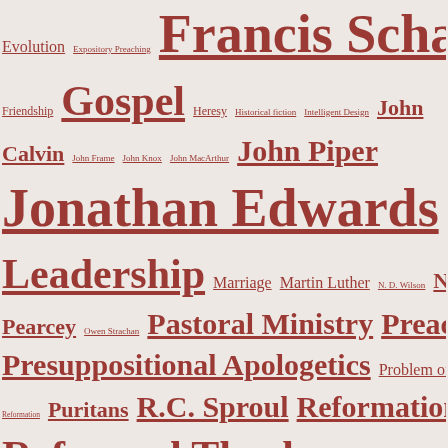Tag cloud with terms including: Evolution, Expository Preaching, Francis Schaeffer, Friendship, Gospel, Heresy, Historical fiction, Intelligent Design, John Calvin, John Frame, John Knox, John MacArthur, John Piper, Jonathan Edwards, Kevin DeYoung, L'Abri, Leadership, Marriage, Martin Luther, N.D. Wilson, Nancy Pearcey, Owen Strachan, Pastoral Ministry, Preaching, Presuppositional Apologetics, Problem of Evil, Protestant Reformation, Puritans, R.C. Sproul, Reformation, Reformed Theology, Religion and Spirituality, Revelation, Rob Bell, Ronald Reagan, Sanctification, Schisms, Secularism, Sinclair Ferguson, Sovereignty of God, spirituality, Steven Lawson, Suffering